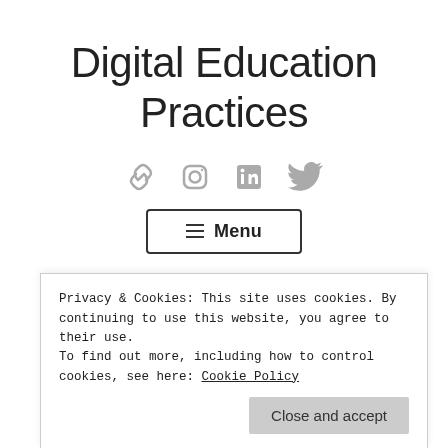Digital Education Practices
[Figure (other): Row of four social media icons: link/chain icon, Instagram icon, LinkedIn icon, Twitter bird icon, all in light grey]
[Figure (other): Menu button with hamburger icon and the word Menu, bordered rectangle]
Privacy & Cookies: This site uses cookies. By continuing to use this website, you agree to their use.
To find out more, including how to control cookies, see here: Cookie Policy
Close and accept